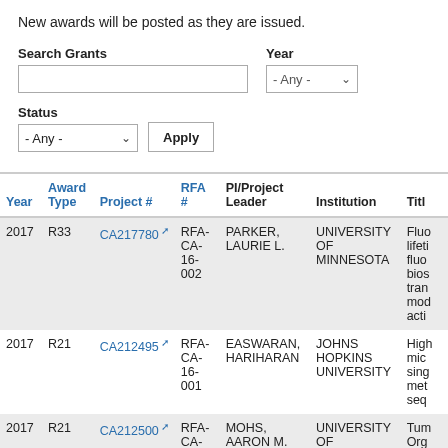New awards will be posted as they are issued.
Search Grants
Year
Status
| Year | Award Type | Project # | RFA # | PI/Project Leader | Institution | Title |
| --- | --- | --- | --- | --- | --- | --- |
| 2017 | R33 | CA217780 | RFA-CA-16-002 | PARKER, LAURIE L. | UNIVERSITY OF MINNESOTA | Fluo lifetime fluo bios tra mod acti |
| 2017 | R21 | CA212495 | RFA-CA-16-001 | EASWARAN, HARIHARAN | JOHNS HOPKINS UNIVERSITY | High mic sing met seq |
| 2017 | R21 | CA212500 | RFA-CA-16- | MOHS, AARON M. | UNIVERSITY OF NEBRASKA MEDICAL CENTER | Tum Org Nan |